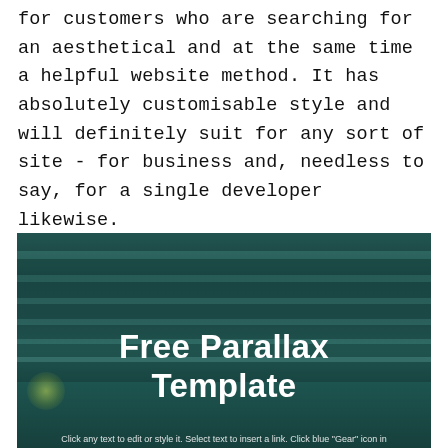for customers who are searching for an aesthetical and at the same time a helpful website method. It has absolutely customisable style and will definitely suit for any sort of site - for business and, needless to say, for a single developer likewise.
[Figure (screenshot): A dark teal/green parallax website template screenshot showing horizontal blind-like stripes in the background with bold white text reading 'Free Parallax Template' and a small caption at the bottom: 'Click any text to edit or style it. Select text to insert a link. Click blue "Gear" icon in']